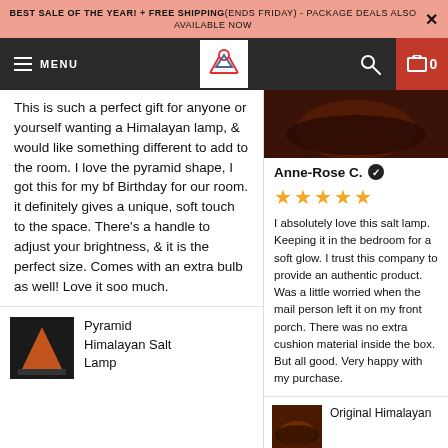BEST SALE OF THE YEAR! + FREE SHIPPING(ENDS FRIDAY) - PACKAGE DEALS ALSO AVAILABLE NOW
This is such a perfect gift for anyone or yourself wanting a Himalayan lamp, & would like something different to add to the room. I love the pyramid shape, I got this for my bf Birthday for our room. it definitely gives a unique, soft touch to the space. There's a handle to adjust your brightness, & it is the perfect size. Comes with an extra bulb as well! Love it soo much.
Pyramid Himalayan Salt Lamp
Anne-Rose C. ✔
★★★★★
I absolutely love this salt lamp. Keeping it in the bedroom for a soft glow. I trust this company to provide an authentic product. Was a little worried when the mail person left it on my front porch. There was no extra cushion material inside the box. But all good. Very happy with my purchase.
Original Himalayan